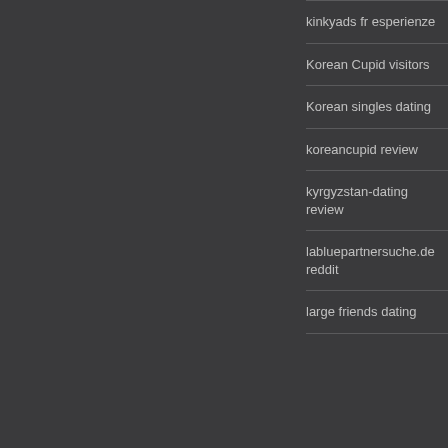kinkyads fr esperienze
Korean Cupid visitors
Korean singles dating
koreancupid review
kyrgyzstan-dating review
labluepartnersuche.de reddit
large friends dating